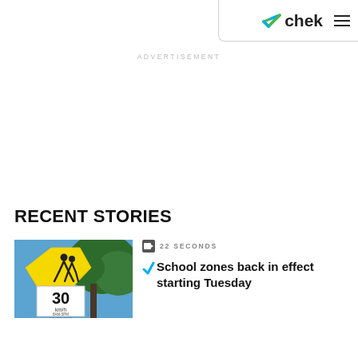chek
ADVERTISEMENT
RECENT STORIES
[Figure (photo): School zone sign showing pedestrian crossing symbol and 30 km/h speed limit sign with text 8AM-5PM School Days, with trees and blue sky in background]
22 SECONDS
School zones back in effect starting Tuesday